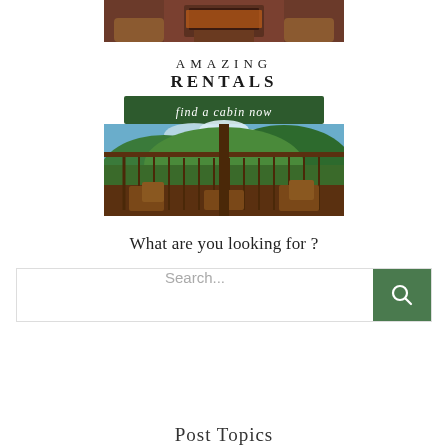[Figure (illustration): Advertisement graphic for cabin rentals. Top portion shows interior of a log cabin with fireplace and leather chairs. Middle section has white background with text 'AMAZING RENTALS'. Below that is a dark green banner with cursive text 'find a cabin now'. Bottom portion shows a scenic view from a cabin deck with wooden rocking chairs, deck railing, and a lush green mountain/forest landscape under a partly cloudy sky.]
What are you looking for ?
Search...
Post Topics